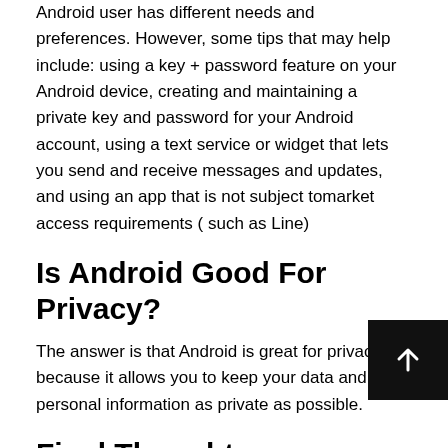Android user has different needs and preferences. However, some tips that may help include: using a key + password feature on your Android device, creating and maintaining a private key and password for your Android account, using a text service or widget that lets you send and receive messages and updates, and using an app that is not subject tomarket access requirements ( such as Line)
Is Android Good For Privacy?
The answer is that Android is great for privacy because it allows you to keep your data and personal information as private as possible.
Final Thoughts
If you're looking for a new or veteran tablet that is both pr... friendly and quality-one should decide on the Google Nexus 7_